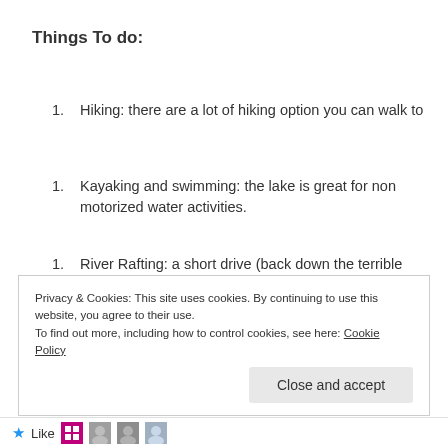Things To do:
Hiking: there are a lot of hiking option you can walk to
Kayaking and swimming: the lake is great for non motorized water activities.
River Rafting: a short drive (back down the terrible road) will take you to river rafting. Our group booked with REO River Rafting and it was tons of fun. For a detailed review click here.
Privacy & Cookies: This site uses cookies. By continuing to use this website, you agree to their use.
To find out more, including how to control cookies, see here: Cookie Policy
Close and accept
Like